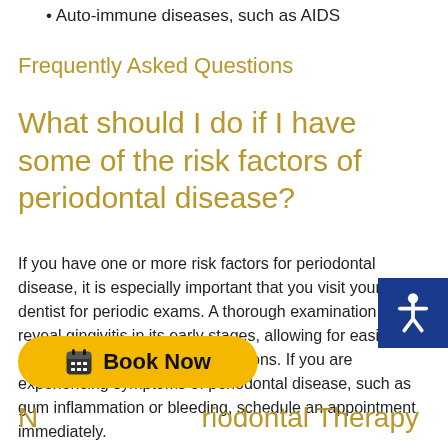Auto-immune diseases, such as AIDS
Frequently Asked Questions
What should I do if I have some of the risk factors of periodontal disease?
If you have one or more risk factors for periodontal disease, it is especially important that you visit your dentist for periodic exams. A thorough examination can reveal gingivitis in its early stages, allowing for easier and more conservative treatment options. If you are experiencing symptoms of periodontal disease, such as gum inflammation or bleeding, schedule an appointment immediately.
Book Now
Next: Periodontal Therapy